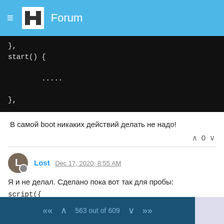Forum
[Figure (screenshot): Dark code block showing JavaScript snippet: }, start() {  ....., },]
В самой boot никаких действий делать не надо!
Lost Dec 17, 2020, 8:55 AM
Я и не делал. Сделано пока вот так для пробы:
script({
boot() {
return true;
},
start() {
global.set('Armed', 1);
563 out of 609